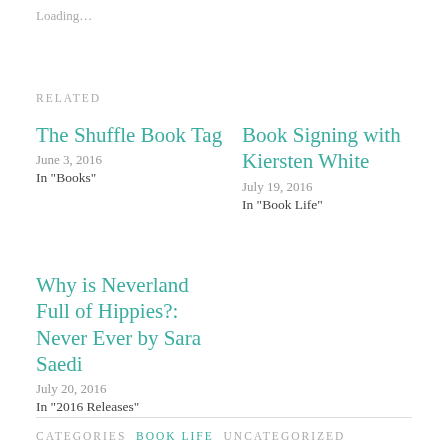Loading…
RELATED
The Shuffle Book Tag
June 3, 2016
In "Books"
Book Signing with Kiersten White
July 19, 2016
In "Book Life"
Why is Neverland Full of Hippies?: Never Ever by Sara Saedi
July 20, 2016
In "2016 Releases"
CATEGORIES  BOOK LIFE  UNCATEGORIZED